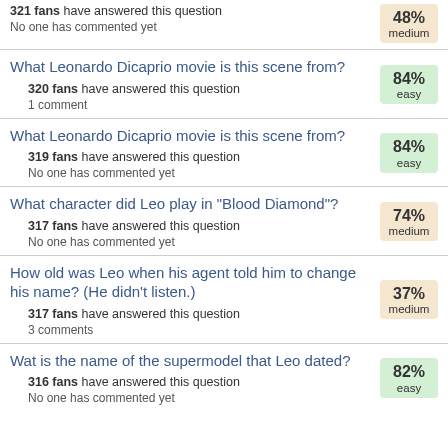321 fans have answered this question
No one has commented yet
48% medium
What Leonardo Dicaprio movie is this scene from?
320 fans have answered this question
1 comment
84% easy
What Leonardo Dicaprio movie is this scene from?
319 fans have answered this question
No one has commented yet
84% easy
What character did Leo play in "Blood Diamond"?
317 fans have answered this question
No one has commented yet
74% medium
How old was Leo when his agent told him to change his name? (He didn't listen.)
317 fans have answered this question
3 comments
37% medium
Wat is the name of the supermodel that Leo dated?
316 fans have answered this question
No one has commented yet
82% easy